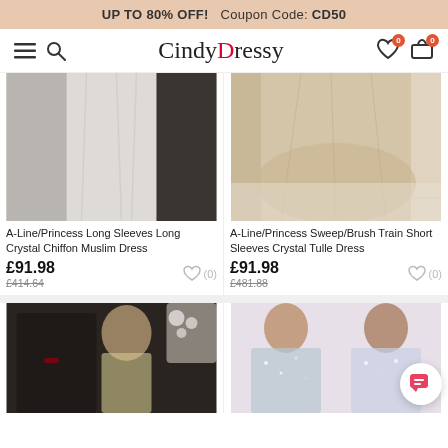UP TO 80% OFF!   Coupon Code: CD50
[Figure (logo): CindyDressy logo with hamburger menu, search icon, wishlist and cart icons]
[Figure (photo): White/light grey chiffon long sleeve dress displayed on model]
A-Line/Princess Long Sleeves Long Crystal Chiffon Muslim Dress
£91.98
£414.64
[Figure (photo): Beige/champagne tulle dress with sweep/brush train on model]
A-Line/Princess Sweep/Brush Train Short Sleeves Crystal Tulle Dress
£91.98
£481.88
[Figure (photo): Couple at formal event, woman in beaded high neck dress]
[Figure (photo): Two women in sparkly/beaded dresses at formal event]